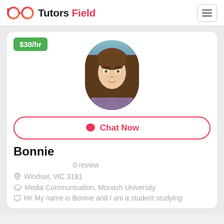Tutors Field
$30/hr
[Figure (photo): Profile photo of Bonnie, a young woman with long brown hair wearing a purple sweater, shown against a blue-grey background, in a rounded portrait frame.]
Chat Now
Bonnie
0 review
Windsor, VIC 3181
Media Communication, Monash University
Hi! My name is Bonnie and I am a student studying